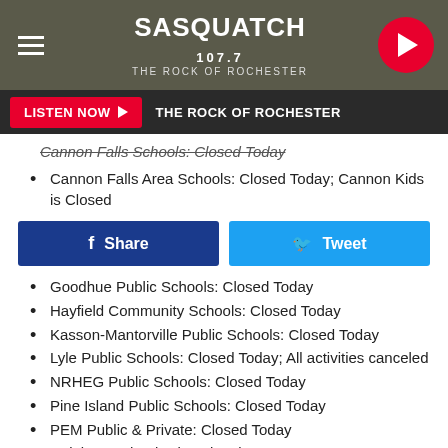[Figure (screenshot): Sasquatch 107.7 The Rock of Rochester radio station header banner with hamburger menu, logo, and play button]
LISTEN NOW ▶  THE ROCK OF ROCHESTER
Cannon Falls Area Schools: Closed Today; Cannon Kids is Closed
Goodhue Public Schools: Closed Today
Hayfield Community Schools: Closed Today
Kasson-Mantorville Public Schools: Closed Today
Lyle Public Schools: Closed Today; All activities canceled
NRHEG Public Schools: Closed Today
Pine Island Public Schools: Closed Today
PEM Public & Private: Closed Today
Rainbow School: Closed Today
St. Charles Public Schools: Closed Today; SACC Open 6 a.m. to 4 p.m.